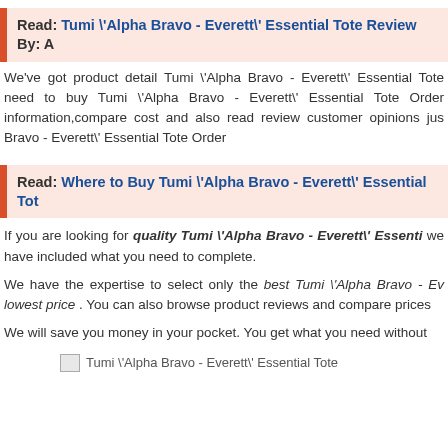Read: Tumi \'Alpha Bravo - Everett\' Essential Tote Review By: A
We've got product detail Tumi \'Alpha Bravo - Everett\' Essential Tote need to buy Tumi \'Alpha Bravo - Everett\' Essential Tote Order information,compare cost and also read review customer opinions just Bravo - Everett\' Essential Tote Order
Read: Where to Buy Tumi \'Alpha Bravo - Everett\' Essential Tot
If you are looking for quality Tumi \'Alpha Bravo - Everett\' Essenti we have included what you need to complete.
We have the expertise to select only the best Tumi \'Alpha Bravo - Ev lowest price . You can also browse product reviews and compare prices
We will save you money in your pocket. You get what you need without
[Figure (other): Broken image placeholder with text: Tumi \'Alpha Bravo - Everett\' Essential Tote]